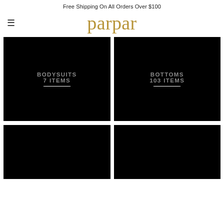Free Shipping On All Orders Over $100
parpar
[Figure (other): BODYSUITS category tile, black background with text: BODYSUITS / 7 ITEMS and a white underline]
[Figure (other): BOTTOMS category tile, black background with text: BOTTOMS / 103 ITEMS and a white underline]
[Figure (other): Category tile, black background, partially visible, bottom row left]
[Figure (other): Category tile, black background, partially visible, bottom row right]